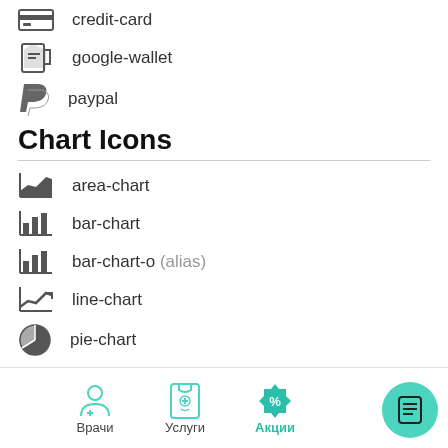credit-card
google-wallet
paypal
Chart Icons
area-chart
bar-chart
bar-chart-o (alias)
line-chart
pie-chart
Currency Icons
Врачи   Услуги   Акции